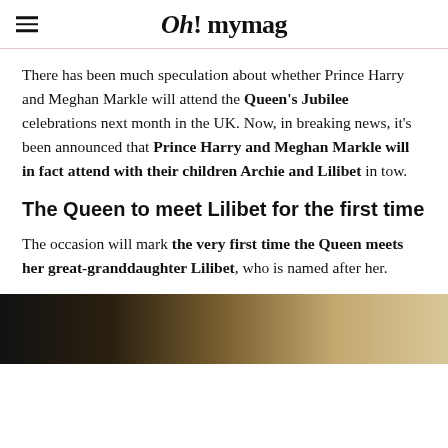Oh! mymag
There has been much speculation about whether Prince Harry and Meghan Markle will attend the Queen's Jubilee celebrations next month in the UK. Now, in breaking news, it's been announced that Prince Harry and Meghan Markle will in fact attend with their children Archie and Lilibet in tow.
The Queen to meet Lilibet for the first time
The occasion will mark the very first time the Queen meets her great-granddaughter Lilibet, who is named after her.
[Figure (photo): Photo of a person, partially visible at the bottom of the page]